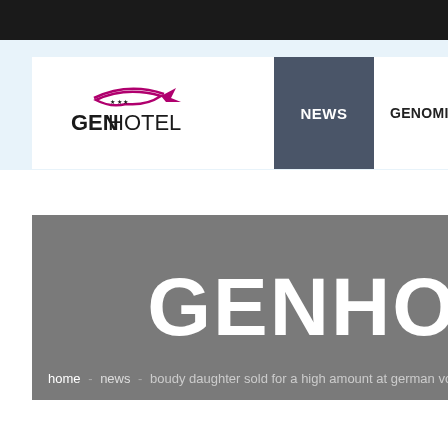[Figure (logo): GenHotel logo with fish/arc design and stars, text GEN in bold black and HOTEL in regular black]
NEWS   GENOMICS   SIRE OF SC...
[Figure (screenshot): Gray hero banner with large white text GENHO (cut off) and breadcrumb navigation: home - news - boudy daughter sold for a high amount at german vost lives...]
home - news - boudy daughter sold for a high amount at german vost lives...